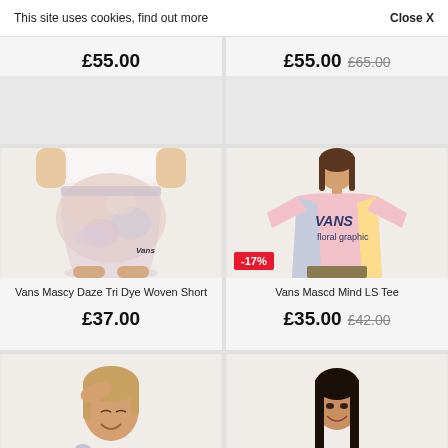This site uses cookies, find out more
Close X
£55.00
£55.00  £65.00
[Figure (photo): Person wearing white top and Vans Mascy Daze Tri Dye Woven Shorts in pastel tie-dye pattern]
Vans Mascy Daze Tri Dye Woven Short
£37.00
[Figure (photo): Person wearing Vans Mascd Mind LS Tee in pink, blue and yellow tie-dye with Vans graphic print, -17% discount badge]
Vans Mascd Mind LS Tee
£35.00  £42.00
[Figure (photo): Person with hand to forehead, partially visible, bottom of page]
[Figure (photo): Person with long dark hair smiling, partially visible, bottom of page]